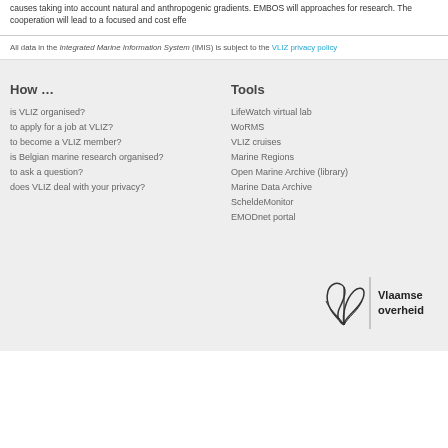causes taking into account natural and anthropogenic gradients. EMBOS will approaches for research. The cooperation will lead to a focused and cost effe
All data in the Integrated Marine Information System (IMIS) is subject to the VLIZ privacy policy
How …
is VLIZ organised?
to apply for a job at VLIZ?
to become a VLIZ member?
is Belgian marine research organised?
to ask a question?
does VLIZ deal with your privacy?
Tools
LifeWatch virtual lab
WoRMS
VLIZ cruises
Marine Regions
Open Marine Archive (library)
Marine Data Archive
ScheldeMonitor
EMODnet portal
[Figure (logo): Vlaamse overheid logo with stylized plant/leaf graphic and vertical divider]